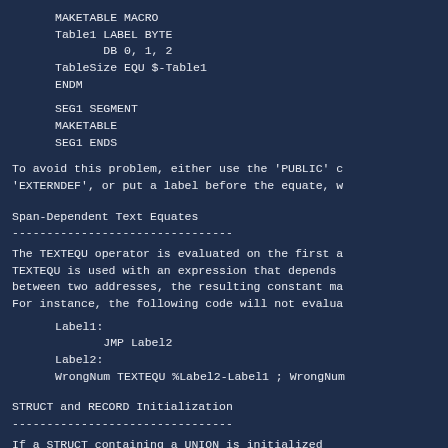MAKETABLE MACRO
Table1 LABEL BYTE
       DB 0, 1, 2
TableSize EQU $-Table1
ENDM

SEG1 SEGMENT
MAKETABLE
SEG1 ENDS
To avoid this problem, either use the 'PUBLIC' c 'EXTERNDEF', or put a label before the equate, w
Span-Dependent Text Equates
--------------------------------
The TEXTEQU operator is evaluated on the first a TEXTEQU is used with an expression that depends between two addresses, the resulting constant ma For instance, the following code will not evalua
Label1:
       JMP Label2
Label2:
WrongNum TEXTEQU %Label2-Label1 ; WrongNum
STRUCT and RECORD Initialization
--------------------------------
If a STRUCT containing a UNION is initialized